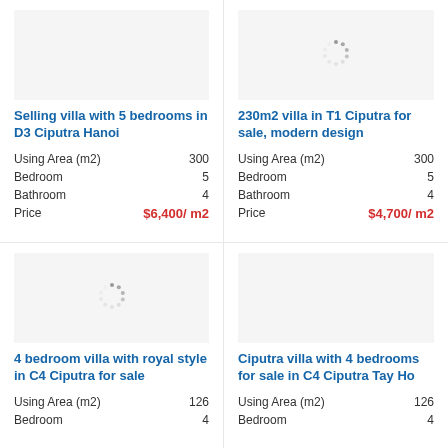[Figure (photo): Loading spinner for villa image (top right area)]
Selling villa with 5 bedrooms in D3 Ciputra Hanoi
| Property | Value |
| --- | --- |
| Using Area (m2) | 300 |
| Bedroom | 5 |
| Bathroom | 4 |
| Price | $6,400/ m2 |
230m2 villa in T1 Ciputra for sale, modern design
| Property | Value |
| --- | --- |
| Using Area (m2) | 300 |
| Bedroom | 5 |
| Bathroom | 4 |
| Price | $4,700/ m2 |
[Figure (photo): Loading spinner for villa image (bottom left)]
[Figure (photo): Placeholder for bottom right villa image]
4 bedroom villa with royal style in C4 Ciputra for sale
| Property | Value |
| --- | --- |
| Using Area (m2) | 126 |
| Bedroom | 4 |
Ciputra villa with 4 bedrooms for sale in C4 Ciputra Tay Ho
| Property | Value |
| --- | --- |
| Using Area (m2) | 126 |
| Bedroom | 4 |